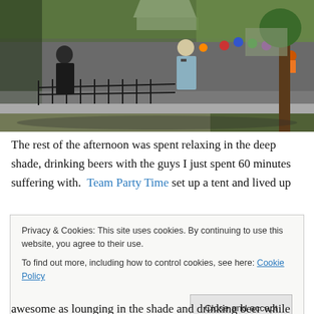[Figure (photo): Outdoor bicycle race in a park setting. Cyclists racing on a street course with spectators watching behind iron fencing. Trees and green grass visible. Two prominent spectators in foreground, one in dark shirt, one in light blue shirt.]
The rest of the afternoon was spent relaxing in the deep shade, drinking beers with the guys I just spent 60 minutes suffering with.  Team Party Time set up a tent and lived up
Privacy & Cookies: This site uses cookies. By continuing to use this website, you agree to their use.
To find out more, including how to control cookies, see here: Cookie Policy
awesome as lounging in the shade and drinking beer while